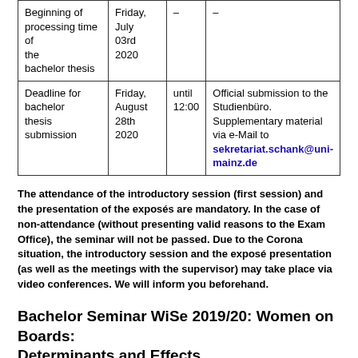| Beginning of processing time of the bachelor thesis | Friday, July 03rd 2020 | – | – |
| Deadline for bachelor thesis submission | Friday, August 28th 2020 | until 12:00 | Official submission to the Studienbüro. Supplementary material via e-Mail to sekretariat.schank@uni-mainz.de |
The attendance of the introductory session (first session) and the presentation of the exposés are mandatory. In the case of non-attendance (without presenting valid reasons to the Exam Office), the seminar will not be passed. Due to the Corona situation, the introductory session and the exposé presentation (as well as the meetings with the supervisor) may take place via video conferences. We will inform you beforehand.
Bachelor Seminar WiSe 2019/20: Women on Boards: Determinants and Effects
Further information including a description of the topics can be downloaded